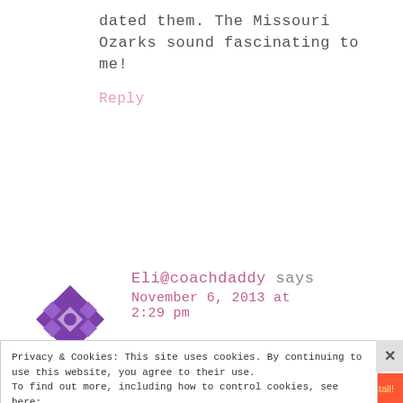dated them. The Missouri Ozarks sound fascinating to me!
Reply
[Figure (illustration): Purple geometric avatar icon with diamond/square pattern]
Eli@coachdaddy says
November 6, 2013 at 2:29 pm
Privacy & Cookies: This site uses cookies. By continuing to use this website, you agree to their use. To find out more, including how to control cookies, see here: Cookie Policy
[Figure (screenshot): BitLife - Life Simulator advertisement banner]